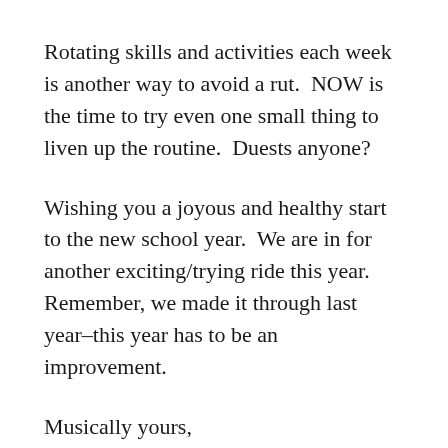Rotating skills and activities each week is another way to avoid a rut.  NOW is the time to try even one small thing to liven up the routine.  Duests anyone?
Wishing you a joyous and healthy start to the new school year.  We are in for another exciting/trying ride this year.  Remember, we made it through last year–this year has to be an improvement.
Musically yours,
Dr. Carol Ann